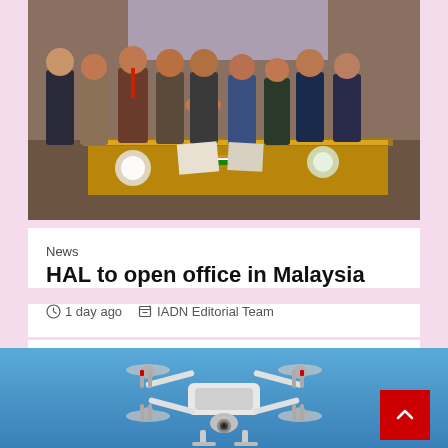[Figure (photo): Group of officials in formal attire gathered around a table for a signing ceremony, with Indian and Malaysian flags visible in the background]
News
HAL to open office in Malaysia
1 day ago   IADN Editorial Team
[Figure (photo): White DJI Phantom drone with camera flying against a blue sky]